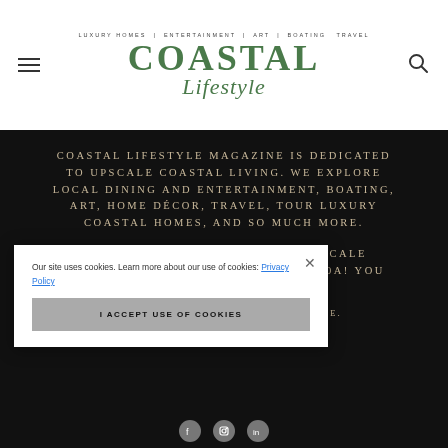[Figure (logo): Coastal Lifestyle magazine logo with green serif lettering. Subtitle reads: LUXURY HOMES | ENTERTAINMENT | ART | BOATING TRAVEL]
COASTAL LIFESTYLE MAGAZINE IS DEDICATED TO UPSCALE COASTAL LIVING. WE EXPLORE LOCAL DINING AND ENTERTAINMENT, BOATING, ART, HOME DÉCOR, TRAVEL, TOUR LUXURY COASTAL HOMES, AND SO MUCH MORE.
FOLLOW US AS WE HIGHLIGHT UPSCALE COASTAL LIVING FROM MOBILE TO 30A! YOU BELONG HERE!
©2024 COASTAL LIFESTYLE MAGAZINE. ALL RIGHTS RESERVED.
Our site uses cookies. Learn more about our use of cookies: Privacy Policy
I ACCEPT USE OF COOKIES